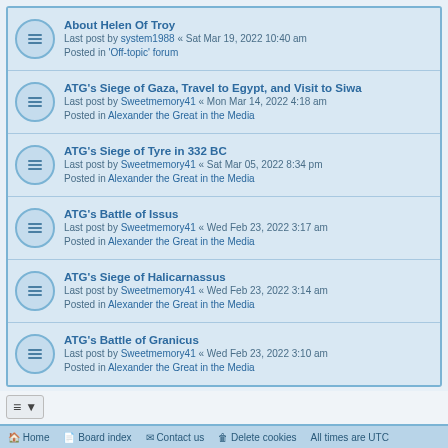About Helen Of Troy
Last post by system1988 « Sat Mar 19, 2022 10:40 am
Posted in 'Off-topic' forum
ATG's Siege of Gaza, Travel to Egypt, and Visit to Siwa
Last post by Sweetmemory41 « Mon Mar 14, 2022 4:18 am
Posted in Alexander the Great in the Media
ATG's Siege of Tyre in 332 BC
Last post by Sweetmemory41 « Sat Mar 05, 2022 8:34 pm
Posted in Alexander the Great in the Media
ATG's Battle of Issus
Last post by Sweetmemory41 « Wed Feb 23, 2022 3:17 am
Posted in Alexander the Great in the Media
ATG's Siege of Halicarnassus
Last post by Sweetmemory41 « Wed Feb 23, 2022 3:14 am
Posted in Alexander the Great in the Media
ATG's Battle of Granicus
Last post by Sweetmemory41 « Wed Feb 23, 2022 3:10 am
Posted in Alexander the Great in the Media
Search found 391 matches  1 2 3 4 5 … 16
Jump to